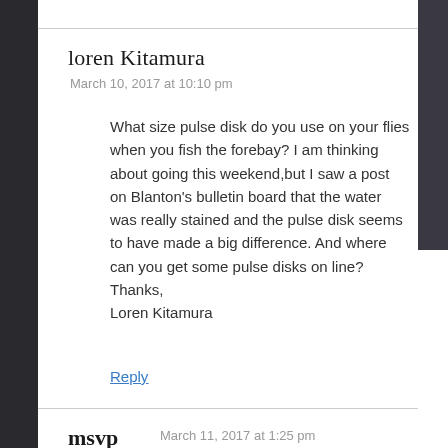loren Kitamura
March 10, 2017 at 10:10 pm
What size pulse disk do you use on your flies when you fish the forebay? I am thinking about going this weekend,but I saw a post on Blanton's bulletin board that the water was really stained and the pulse disk seems to have made a big difference. And where can you get some pulse disks on line? Thanks,
Loren Kitamura
Reply
msvp
March 11, 2017 at 1:25 pm